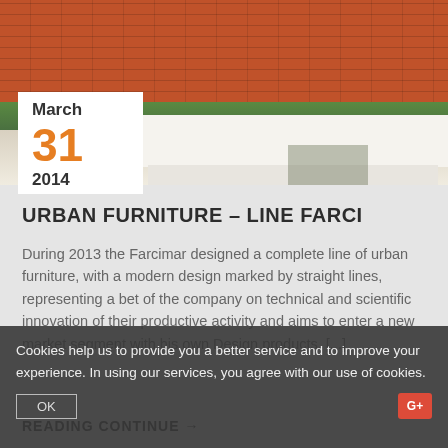[Figure (photo): Photograph of a white modern rectangular bench/coffee table with open lower shelf, situated outdoors against a red brick wall with green plants and grass]
March
31
2014
URBAN FURNITURE – LINE FARCI
During 2013 the Farcimar designed a complete line of urban furniture, with a modern design marked by straight lines, representing a bet of the company on technical and scientific innovation of their productive activity and aims to enter a new market segment with his own Design products. [...]
Cookies help us to provide you a better service and to improve your experience. In using our services, you agree with our use of cookies.
READING CONTINUE →